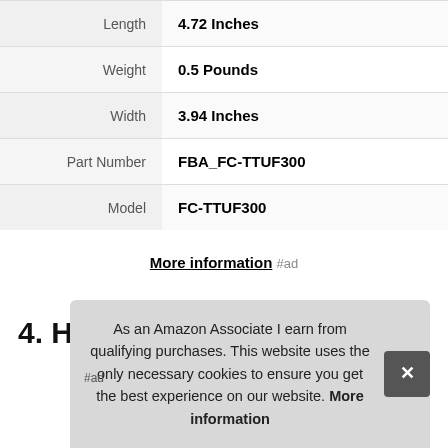| Attribute | Value |
| --- | --- |
| Length | 4.72 Inches |
| Weight | 0.5 Pounds |
| Width | 3.94 Inches |
| Part Number | FBA_FC-TTUF300 |
| Model | FC-TTUF300 |
More information #ad
4. HOLMES
As an Amazon Associate I earn from qualifying purchases. This website uses the only necessary cookies to ensure you get the best experience on our website. More information